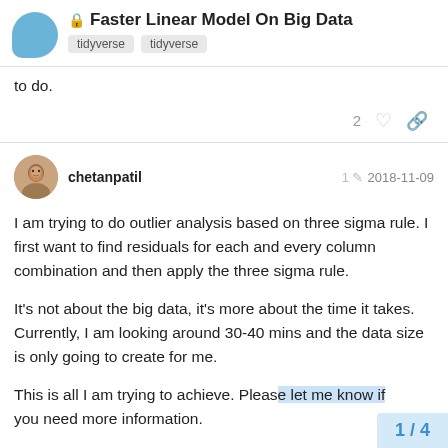🔒 Faster Linear Model On Big Data
tidyverse  tidyverse
to do.
2 ♡ 🔗
chetanpatil  1 ✏  2018-11-09
I am trying to do outlier analysis based on three sigma rule. I first want to find residuals for each and every column combination and then apply the three sigma rule.
It's not about the big data, it's more about the time it takes. Currently, I am looking around 30-40 mins and the data size is only going to create for me.
This is all I am trying to achieve. Please let me know if you need more information.
1 / 4